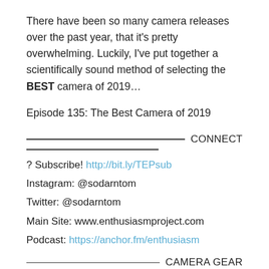There have been so many camera releases over the past year, that it's pretty overwhelming. Luckily, I've put together a scientifically sound method of selecting the BEST camera of 2019…
Episode 135: The Best Camera of 2019
CONNECT
? Subscribe! http://bit.ly/TEPsub
Instagram: @sodarntom
Twitter: @sodarntom
Main Site: www.enthusiasmproject.com
Podcast: https://anchor.fm/enthusiasm
CAMERA GEAR